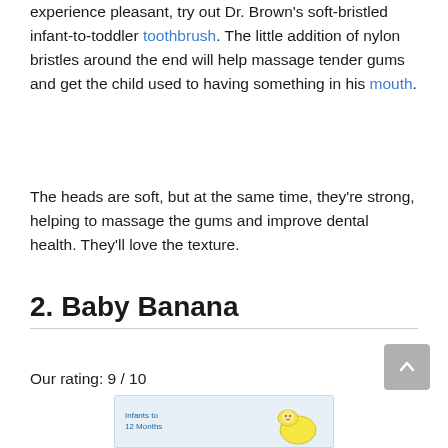experience pleasant, try out Dr. Brown's soft-bristled infant-to-toddler toothbrush. The little addition of nylon bristles around the end will help massage tender gums and get the child used to having something in his mouth.
The heads are soft, but at the same time, they're strong, helping to massage the gums and improve dental health. They'll love the texture.
2. Baby Banana
Our rating: 9 / 10
[Figure (photo): Product packaging image of Baby Banana infant toothbrush, labeled 'Infants to 12 Months', partially visible at bottom of page]